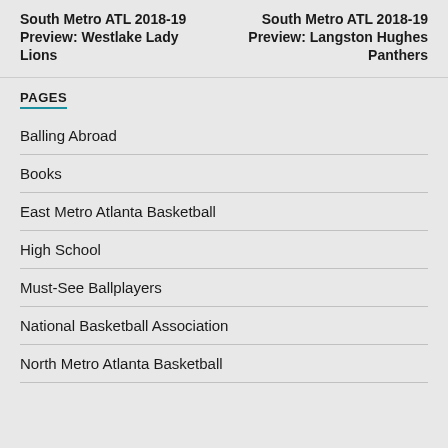South Metro ATL 2018-19 Preview: Westlake Lady Lions
South Metro ATL 2018-19 Preview: Langston Hughes Panthers
PAGES
Balling Abroad
Books
East Metro Atlanta Basketball
High School
Must-See Ballplayers
National Basketball Association
North Metro Atlanta Basketball